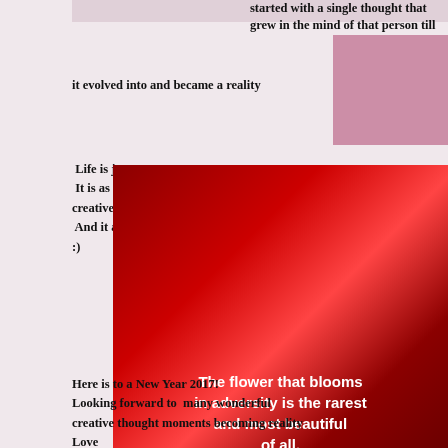[Figure (photo): Partial image at top left, cut off]
started with a single thought that grew in the mind of that person till it evolved into and became a reality
Life is just great!
 It is as great, as wonderful, as good, as creative, as we wish it to be
 And it all starts with us in a single thought! :)
[Figure (photo): Red rose image with quote: The flower that blooms in adversity is the rarest and most beautiful of all.]
Here is to a New Year 2017!
Looking forward to many wonderful creative thought moments becoming reality
Love
Antosa x
Read Full Post »
Its a Dogs life!
Posted on November 17, 2016 at 8:45 AM
comments (220)
It's a Dog's life!
[Figure (photo): Colorful tropical/dog themed image at bottom right]